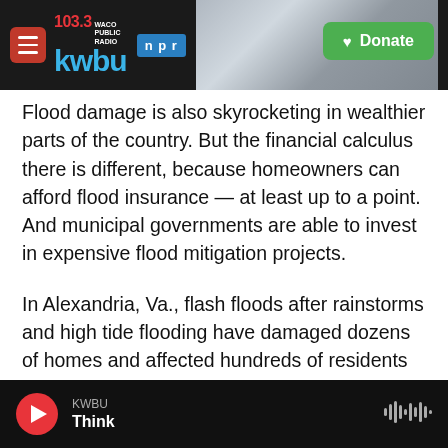[Figure (screenshot): KWBU 103.3 Waco Public Radio NPR header logo bar with photo of industrial/power plant in background and green Donate button]
Flood damage is also skyrocketing in wealthier parts of the country. But the financial calculus there is different, because homeowners can afford flood insurance — at least up to a point. And municipal governments are able to invest in expensive flood mitigation projects.
In Alexandria, Va., flash floods after rainstorms and high tide flooding have damaged dozens of homes and affected hundreds of residents in recent years, according to the city government. Climate change is largely to blame for the rapid increase in damage
KWBU Think